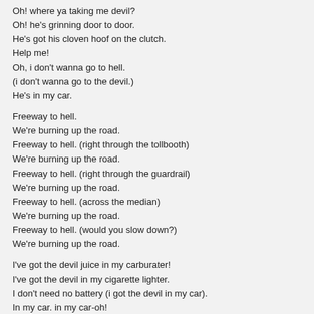Oh! where ya taking me devil?
Oh! he's grinning door to door.
He's got his cloven hoof on the clutch.
Help me!
Oh, i don't wanna go to hell.
(i don't wanna go to the devil.)
He's in my car.
Freeway to hell.
We're burning up the road.
Freeway to hell. (right through the tollbooth)
We're burning up the road.
Freeway to hell. (right through the guardrail)
We're burning up the road.
Freeway to hell. (across the median)
We're burning up the road.
Freeway to hell. (would you slow down?)
We're burning up the road.
I've got the devil juice in my carburater!
I've got the devil in my cigarette lighter.
I don't need no battery (i got the devil in my car).
In my car. in my car-oh!
In my car.